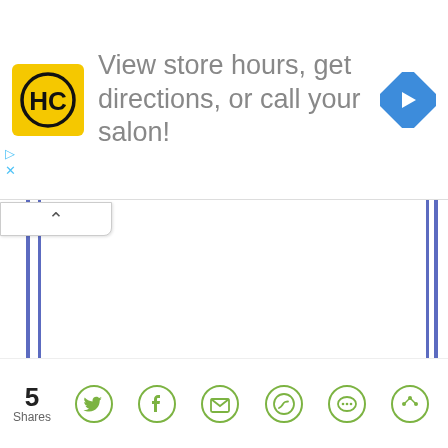[Figure (screenshot): Advertisement banner for Hair Club (HC) salon locator. Yellow square logo with HC initials, text reading 'View store hours, get directions, or call your salon!', and a blue diamond navigation arrow icon on the right.]
[Figure (screenshot): Web page content area with blue vertical border bars on left and right sides, and a collapse chevron tab at top left. The main content area is blank/white.]
[Figure (infographic): Social share bar at bottom showing '5 Shares' count and social media icons: Twitter (bird), Facebook (f), Email (envelope), WhatsApp (phone), SMS (speech bubble), and another share icon. All icons in olive/green color.]